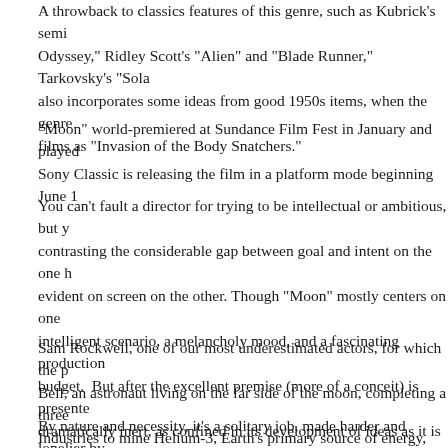A throwback to classics features of this genre, such as Kubrick's semi... Odyssey," Ridley Scott's "Alien" and "Blade Runner," Tarkovsky's "Sola... also incorporates some ideas from good 1950s items, when the genre... films as "Invasion of the Body Snatchers."
"Moon" world-premiered at Sundance Film Fest in January and played... Sony Classic is releasing the film in a platform mode beginning June 1...
You can't fault a director for trying to be intellectual or ambitious, but y... contrasting the considerable gap between goal and intent on the one h... evident on screen on the other. Though "Moon" mostly centers on one... intelligent scenario, a melancholy mood, and a fascinating production... budget. But after the excellent premise (more of a conceit) is presente... dramatically inert, as confined in its development of ideas as it is cons...
Sam Rockwell, one of our most underestimated actors, for which the p... Bell, an astronaut living on the far side of the moon, completing a three... Industries to mine Helium-3, Earth's primary source of energy, Helium-...
By nature and necessity, it's a solitary job, made harder and lonelier by... allow no direct communication with his base. Scanning...